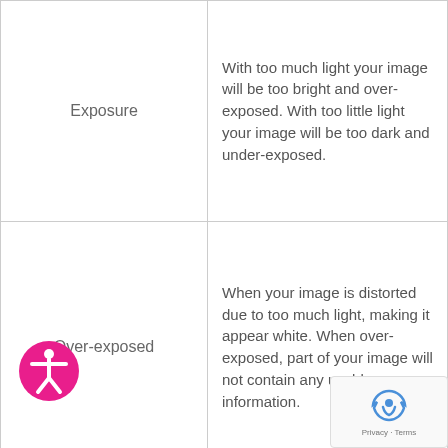| Term | Definition |
| --- | --- |
| Exposure | With too much light your image will be too bright and over-exposed. With too little light your image will be too dark and under-exposed. |
| Over-exposed | When your image is distorted due to too much light, making it appear white. When over-exposed, part of your image will not contain any usable information. |
|  | How you move from one clip to another. |